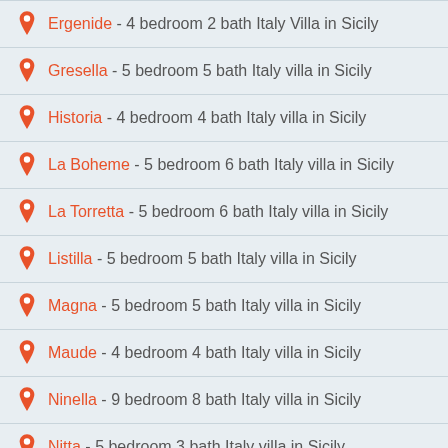Ergenide - 4 bedroom 2 bath Italy Villa in Sicily
Gresella - 5 bedroom 5 bath Italy villa in Sicily
Historia - 4 bedroom 4 bath Italy villa in Sicily
La Boheme - 5 bedroom 6 bath Italy villa in Sicily
La Torretta - 5 bedroom 6 bath Italy villa in Sicily
Listilla - 5 bedroom 5 bath Italy villa in Sicily
Magna - 5 bedroom 5 bath Italy villa in Sicily
Maude - 4 bedroom 4 bath Italy villa in Sicily
Ninella - 9 bedroom 8 bath Italy villa in Sicily
Nitta - 5 bedroom 3 bath Italy villa in Sicily
Oli... - 4 bedroom ... bath Italy villa in Sicily